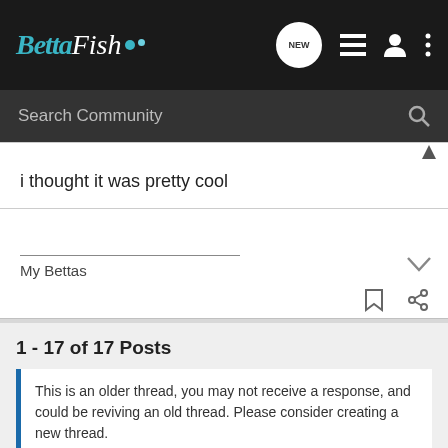Betta Fish — Search Community nav bar
i thought it was pretty cool
My Bettas
1 - 17 of 17 Posts
This is an older thread, you may not receive a response, and could be reviving an old thread. Please consider creating a new thread.